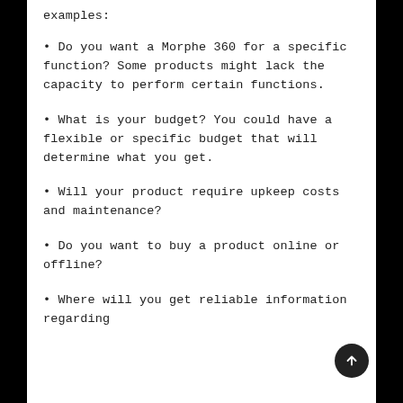examples:
• Do you want a Morphe 360 for a specific function? Some products might lack the capacity to perform certain functions.
• What is your budget? You could have a flexible or specific budget that will determine what you get.
• Will your product require upkeep costs and maintenance?
• Do you want to buy a product online or offline?
• Where will you get reliable information regarding